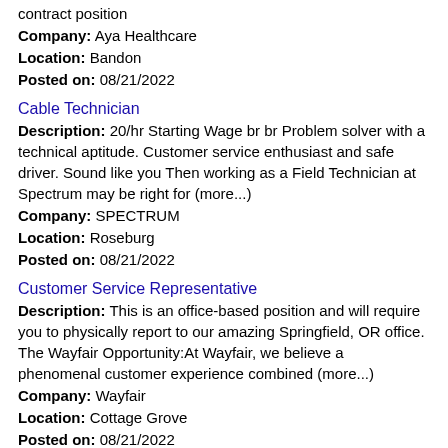contract position
Company: Aya Healthcare
Location: Bandon
Posted on: 08/21/2022
Cable Technician
Description: 20/hr Starting Wage br br Problem solver with a technical aptitude. Customer service enthusiast and safe driver. Sound like you Then working as a Field Technician at Spectrum may be right for (more...)
Company: SPECTRUM
Location: Roseburg
Posted on: 08/21/2022
Customer Service Representative
Description: This is an office-based position and will require you to physically report to our amazing Springfield, OR office. The Wayfair Opportunity:At Wayfair, we believe a phenomenal customer experience combined (more...)
Company: Wayfair
Location: Cottage Grove
Posted on: 08/21/2022
Salary in Bend, Oregon Area | More details for Bend,